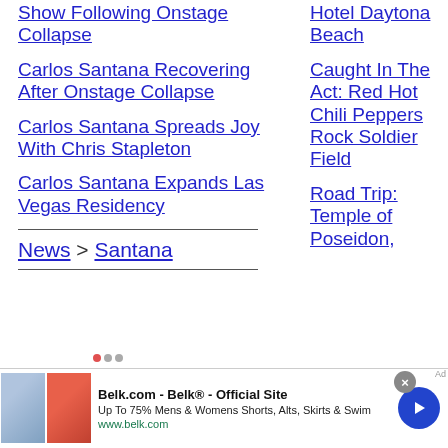Show Following Onstage Collapse
Carlos Santana Recovering After Onstage Collapse
Carlos Santana Spreads Joy With Chris Stapleton
Carlos Santana Expands Las Vegas Residency
Hotel Daytona Beach
Caught In The Act: Red Hot Chili Peppers Rock Soldier Field
Road Trip: Temple of Poseidon,
News > Santana
[Figure (screenshot): Advertisement banner for Belk.com showing clothing images, text 'Belk.com - Belk® - Official Site', 'Up To 75% Mens & Womens Shorts, Alts, Skirts & Swim', 'www.belk.com', navigation arrow button, and close button]